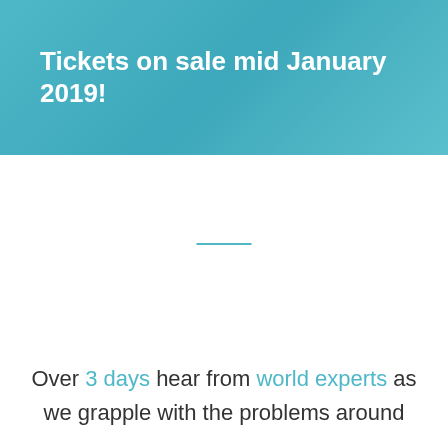Tickets on sale mid January 2019!
Over 3 days hear from world experts as we grapple with the problems around